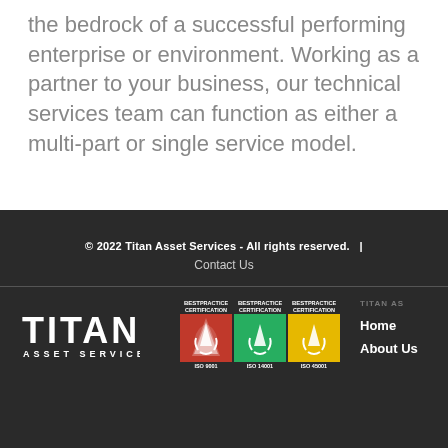the bedrock of a successful performing enterprise or environment. Working as a partner to your business, our technical services team can function as either a multi-part or single service model.
© 2022 Titan Asset Services - All rights reserved. | Contact Us
[Figure (logo): Titan Asset Services logo in white text on dark background]
[Figure (logo): Three Best Practice Certification badges: ISO 9001 (red), ISO 14001 (green), ISO 45001 (yellow), each with an upward arrow icon]
TITAN AS
Home
About Us